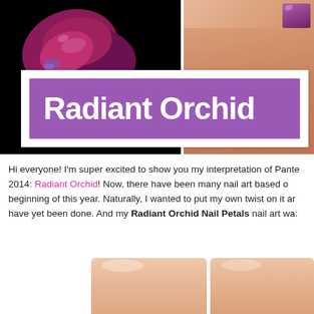[Figure (photo): Collage of two photos: left shows a dark orchid petal on black background, right shows a close-up finger/nail with orchid-colored nail polish. Overlaid white box with purple banner containing the text 'Radiant Orchid' in bold white.]
Hi everyone! I'm super excited to show you my interpretation of Pantone's Color of the Year 2014: Radiant Orchid! Now, there have been many nail art based on this color since the beginning of this year. Naturally, I wanted to put my own twist on it and do something that might have yet been done. And my Radiant Orchid Nail Petals nail art was...
[Figure (photo): Close-up of two fingers showing natural/nude nails, cropped at the bottom of the page.]